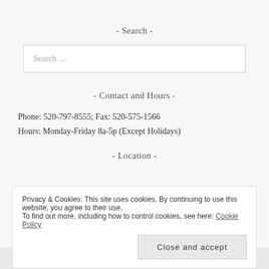- Search -
Search …
- Contact and Hours -
Phone: 520-797-8555; Fax: 520-575-1566
Hours: Monday-Friday 8a-5p (Except Holidays)
- Location -
Privacy & Cookies: This site uses cookies. By continuing to use this website, you agree to their use.
To find out more, including how to control cookies, see here: Cookie Policy
Close and accept
[Figure (map): Map snippet showing Wallace Physical Therapy location near W Ina Rd]